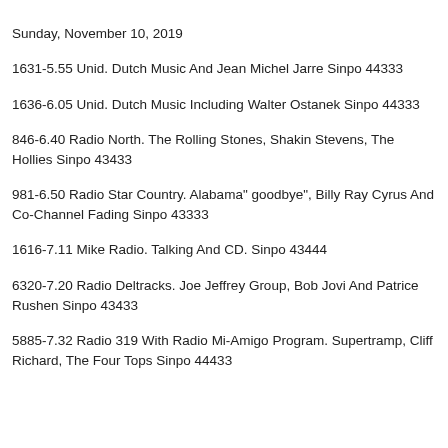Sunday, November 10, 2019
1631-5.55 Unid. Dutch Music And Jean Michel Jarre Sinpo 44333
1636-6.05 Unid. Dutch Music Including Walter Ostanek Sinpo 44333
846-6.40 Radio North. The Rolling Stones, Shakin Stevens, The Hollies Sinpo 43433
981-6.50 Radio Star Country. Alabama" goodbye", Billy Ray Cyrus And Co-Channel Fading Sinpo 43333
1616-7.11 Mike Radio. Talking And CD. Sinpo 43444
6320-7.20 Radio Deltracks. Joe Jeffrey Group, Bob Jovi And Patrice Rushen Sinpo 43433
5885-7.32 Radio 319 With Radio Mi-Amigo Program. Supertramp, Cliff Richard, The Four Tops Sinpo 44433